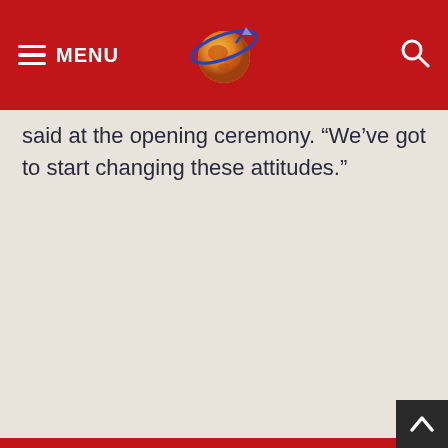MENU
said at the opening ceremony. “We’ve got to start changing these attitudes.”